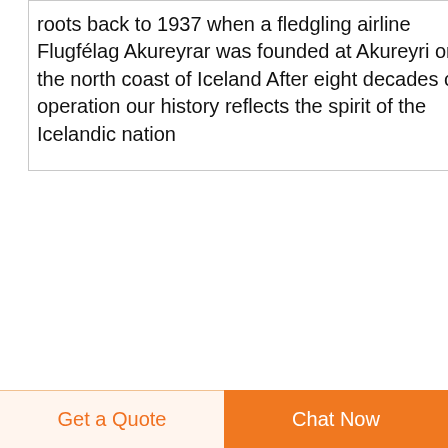roots back to 1937 when a fledgling airline Flugfélag Akureyrar was founded at Akureyri on the north coast of Iceland After eight decades of operation our history reflects the spirit of the Icelandic nation
tongue in cheek knitted face masks by ýrúrarí promotes
tongue in cheek knitted face masks by ýrúrarí scarily
[Figure (other): Small broken/placeholder image icon]
[Figure (other): Scroll-to-top button: dark navy blue circle with white upward arrow]
Get a Quote
Chat Now